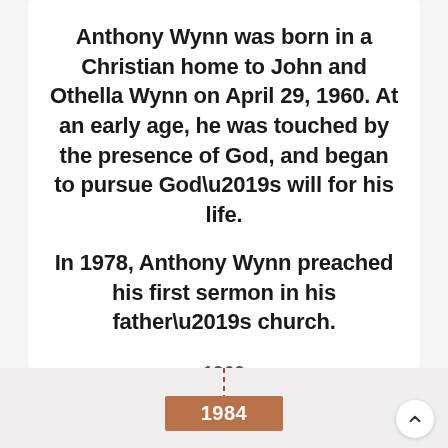Anthony Wynn was born in a Christian home to John and Othella Wynn on April 29, 1960. At an early age, he was touched by the presence of God, and began to pursue God’s will for his life.
In 1978, Anthony Wynn preached his first sermon in his father’s church.
1960
1984